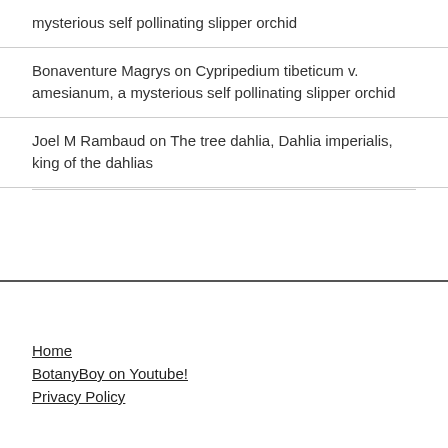mysterious self pollinating slipper orchid
Bonaventure Magrys on Cypripedium tibeticum v. amesianum, a mysterious self pollinating slipper orchid
Joel M Rambaud on The tree dahlia, Dahlia imperialis, king of the dahlias
Home
BotanyBoy on Youtube!
Privacy Policy